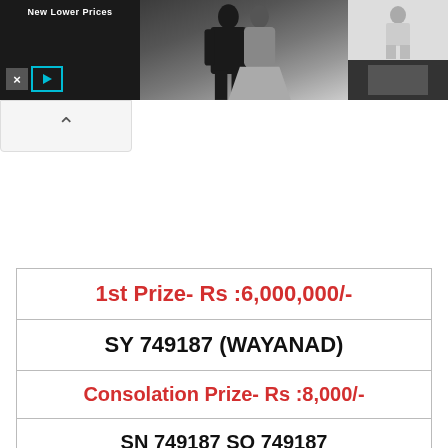[Figure (screenshot): Advertisement banner at top of page showing wedding couple image and fashion items with 'New Lower Prices' text, close/play icons on left]
[Figure (screenshot): Collapse/hide button with upward caret arrow below the ad banner]
| 1st Prize- Rs :6,000,000/- |
| SY 749187 (WAYANAD) |
| Consolation Prize- Rs :8,000/- |
| SN 749187 SO 749187 |